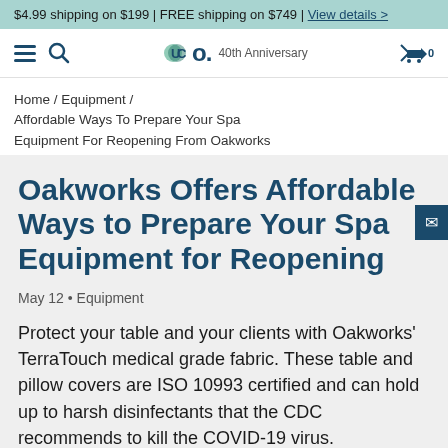$4.99 shipping on $199 | FREE shipping on $749 | View details >
UCo. 40th Anniversary
Home / Equipment / Affordable Ways To Prepare Your Spa Equipment For Reopening From Oakworks
Oakworks Offers Affordable Ways to Prepare Your Spa Equipment for Reopening
May 12 • Equipment
Protect your table and your clients with Oakworks' TerraTouch medical grade fabric. These table and pillow covers are ISO 10993 certified and can hold up to harsh disinfectants that the CDC recommends to kill the COVID-19 virus.